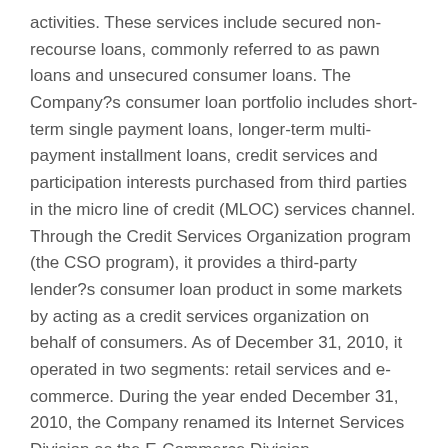activities. These services include secured non-recourse loans, commonly referred to as pawn loans and unsecured consumer loans. The Company?s consumer loan portfolio includes short-term single payment loans, longer-term multi-payment installment loans, credit services and participation interests purchased from third parties in the micro line of credit (MLOC) services channel. Through the Credit Services Organization program (the CSO program), it provides a third-party lender?s consumer loan product in some markets by acting as a credit services organization on behalf of consumers. As of December 31, 2010, it operated in two segments: retail services and e-commerce. During the year ended December 31, 2010, the Company renamed its Internet Services Division as the E-Commerce Division.
Confident Investor comments: At this time, I think that a Confident Investor can cautiously invest in this stock as long as the price is correct. Most of the fundamentals of this company